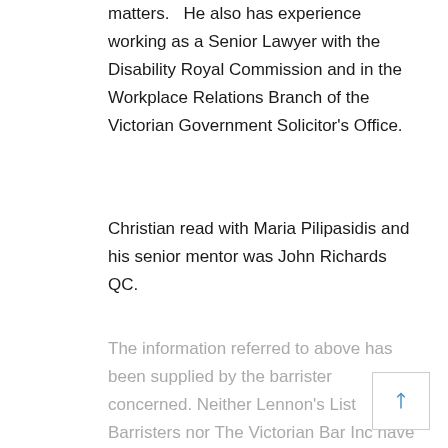matters.   He also has experience working as a Senior Lawyer with the Disability Royal Commission and in the Workplace Relations Branch of the Victorian Government Solicitor's Office.
Christian read with Maria Pilipasidis and his senior mentor was John Richards QC.
The information referred to above has been supplied by the barrister concerned. Neither Lennon's List Barristers nor The Victorian Bar Inc have independently verified the accuracy or completeness of the information and neither accepts any responsibility in that regard.